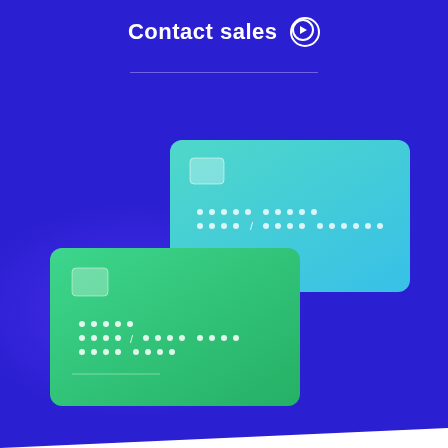Contact sales →
[Figure (illustration): Two payment/credit cards shown in a 3D perspective on a dark blue/purple background. The back card is teal/cyan gradient, the front card is green gradient. Both cards show embossed chip and dot-pattern card numbers. A white diagonal corner appears at the bottom left.]